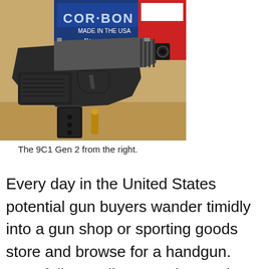[Figure (photo): A semi-automatic pistol (9C1 Gen 2) lying on a tan surface from the right side, with a detached magazine and a cartridge visible in front, and ammunition boxes (Cor-Bon and American/other brand) visible in the background.]
The 9C1 Gen 2 from the right.
Every day in the United States potential gun buyers wander timidly into a gun shop or sporting goods store and browse for a handgun. Most folks reading gun sites and magazines are typically gun people, but there